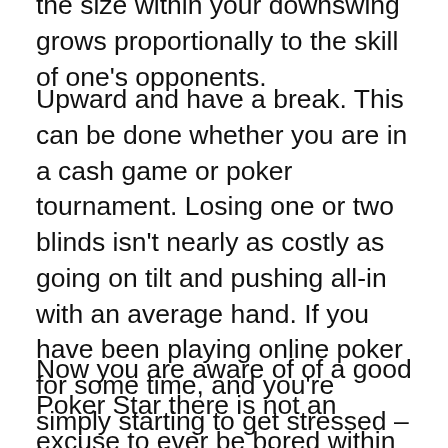the size within your downswing grows proportionally to the skill of one's opponents.
Upward and have a break. This can be done whether you are in a cash game or poker tournament. Losing one or two blinds isn't nearly as costly as going on tilt and pushing all-in with an average hand. If you have been playing online poker for some time, and you're simply starting to get stressed – just leave the room for a minute, head outdoors or do whatever calms you below.
Now you are aware of of a good Poker Star there is not an excuse to ever be bored within your own! All you need to have fun is on the tip of the hands. Additionally you can not complain of getting tired of poker